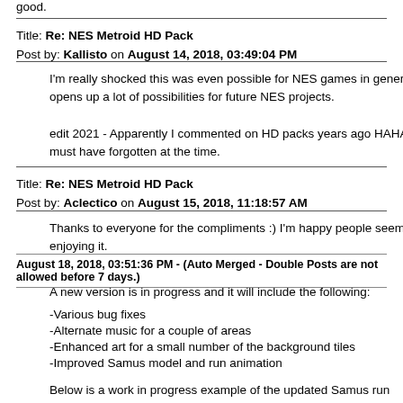good.
Title: Re: NES Metroid HD Pack
Post by: Kallisto on August 14, 2018, 03:49:04 PM
I'm really shocked this was even possible for NES games in general, it opens up a lot of possibilities for future NES projects.

edit 2021 - Apparently I commented on HD packs years ago HAHA! I must have forgotten at the time.
Title: Re: NES Metroid HD Pack
Post by: Aclectico on August 15, 2018, 11:18:57 AM
Thanks to everyone for the compliments :) I'm happy people seem to be enjoying it.
August 18, 2018, 03:51:36 PM - (Auto Merged - Double Posts are not allowed before 7 days.)
A new version is in progress and it will include the following:
-Various bug fixes
-Alternate music for a couple of areas
-Enhanced art for a small number of the background tiles
-Improved Samus model and run animation
Below is a work in progress example of the updated Samus run